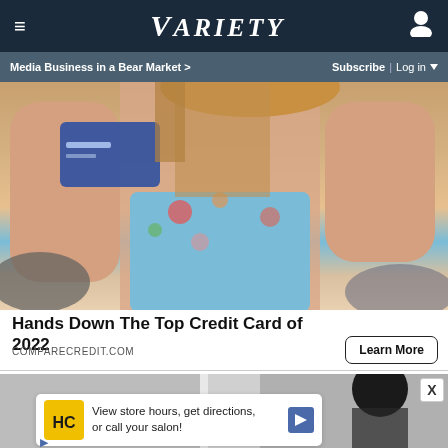VARIETY — Media Business in a Bear Market > | Subscribe | Log in
[Figure (photo): Woman in floral blue swimsuit holding a credit card near her face, at a beach setting]
Hands Down The Top Credit Card of 2022
COMPARECREDIT.COM
[Figure (photo): Second advertisement image showing a person, partially visible, with overlaid HC (likely Hair Club) ad popup saying 'View store hours, get directions, or call your salon!']